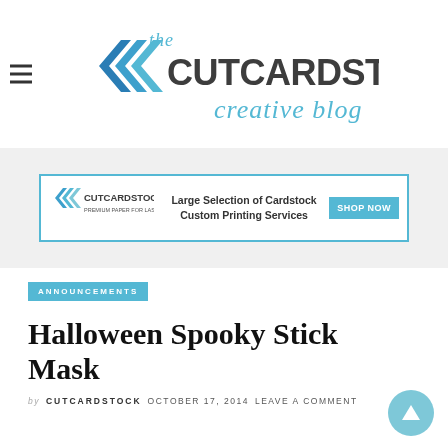[Figure (logo): The CutCardStock Creative Blog logo with chevron arrows in blue and teal, large bold dark gray text CUTCARDSTOCK and cursive teal text 'creative blog']
[Figure (other): CutCardStock advertisement banner: Large Selection of Cardstock Custom Printing Services with SHOP NOW button]
ANNOUNCEMENTS
Halloween Spooky Stick Mask
by CUTCARDSTOCK  OCTOBER 17, 2014  LEAVE A COMMENT